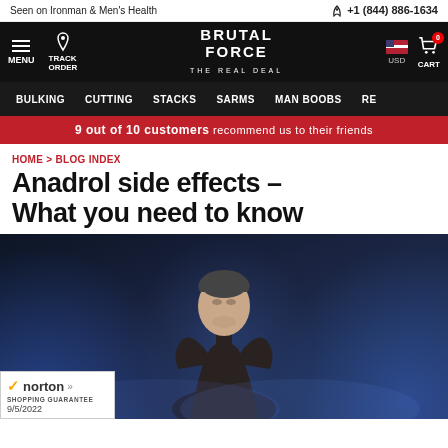Seen on Ironman & Men's Health | +1 (844) 886-1634
[Figure (screenshot): Brutal Force website navigation bar with logo, menu, track order, USD currency selector, and cart icon]
BULKING  CUTTING  STACKS  SARMS  MAN BOOBS  RE...
9 out of 10 customers recommend us to their friends
HOME > BLOG INDEX
Anadrol side effects – What you need to know
[Figure (photo): Muscular man with short hair looking upward against a dark dramatic background with blue atmospheric lighting and smoke/mist effects. Norton Shopping Guarantee badge dated 9/5/2022 overlaid in bottom left corner.]